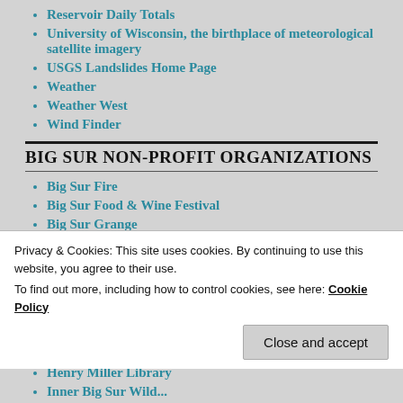Reservoir Daily Totals
University of Wisconsin, the birthplace of meteorological satellite imagery
USGS Landslides Home Page
Weather
Weather West
Wind Finder
BIG SUR NON-PROFIT ORGANIZATIONS
Big Sur Fire
Big Sur Food & Wine Festival
Big Sur Grange
Big Sur Health Center
Big Sur Historical Society
Privacy & Cookies: This site uses cookies. By continuing to use this website, you agree to their use.
To find out more, including how to control cookies, see here: Cookie Policy
Henry Miller Library
Inner Big Sur Wild...